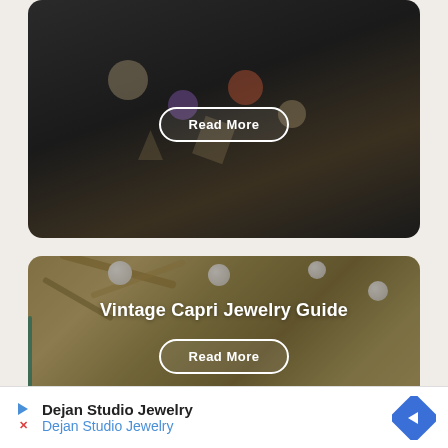[Figure (photo): Top card showing a charm bracelet on dark background with a 'Read More' button overlay]
[Figure (photo): Card showing vintage gold-toned jewelry/wreath with pearls and the text 'Vintage Capri Jewelry Guide' and a 'Read More' button overlay]
Dejan Studio Jewelry
Dejan Studio Jewelry